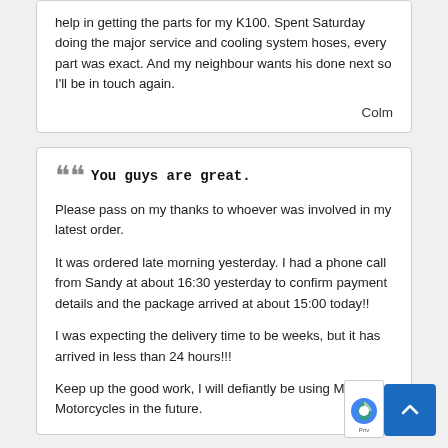help in getting the parts for my K100. Spent Saturday doing the major service and cooling system hoses, every part was exact. And my neighbour wants his done next so I'll be in touch again.
Colm
You guys are great.
Please pass on my thanks to whoever was involved in my latest order.
It was ordered late morning yesterday. I had a phone call from Sandy at about 16:30 yesterday to confirm payment details and the package arrived at about 15:00 today!!
I was expecting the delivery time to be weeks, but it has arrived in less than 24 hours!!!
Keep up the good work, I will defiantly be using Mun Motorcycles in the future.